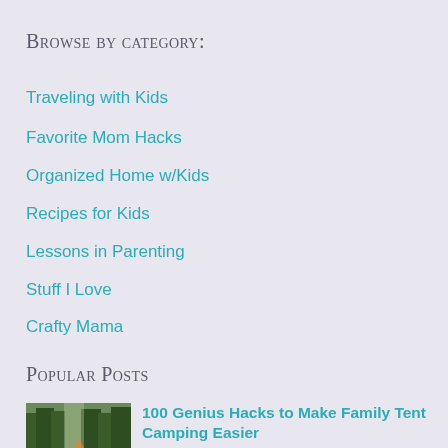Browse by category:
Traveling with Kids
Favorite Mom Hacks
Organized Home w/Kids
Recipes for Kids
Lessons in Parenting
Stuff I Love
Crafty Mama
Popular Posts
[Figure (photo): Outdoor forest/camping scene with trees]
100 Genius Hacks to Make Family Tent Camping Easier
12K Total Shares